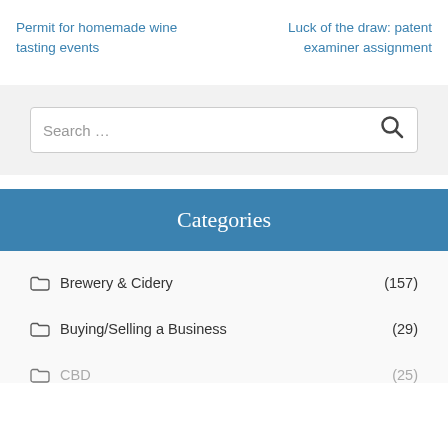Permit for homemade wine tasting events
Luck of the draw: patent examiner assignment
Brewery & Cidery (157)
Buying/Selling a Business (29)
CBD (25)